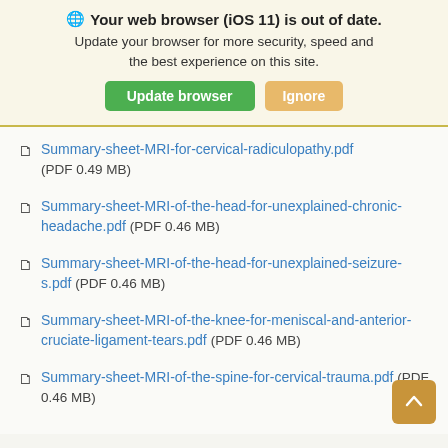Your web browser (iOS 11) is out of date. Update your browser for more security, speed and the best experience on this site. [Update browser] [Ignore]
Summary-sheet-MRI-for-cervical-radiculopathy.pdf (PDF 0.49 MB)
Summary-sheet-MRI-of-the-head-for-unexplained-chronic-headache.pdf (PDF 0.46 MB)
Summary-sheet-MRI-of-the-head-for-unexplained-seizure-s.pdf (PDF 0.46 MB)
Summary-sheet-MRI-of-the-knee-for-meniscal-and-anterior-cruciate-ligament-tears.pdf (PDF 0.46 MB)
Summary-sheet-MRI-of-the-spine-for-cervical-trauma.pdf (PDF 0.46 MB)